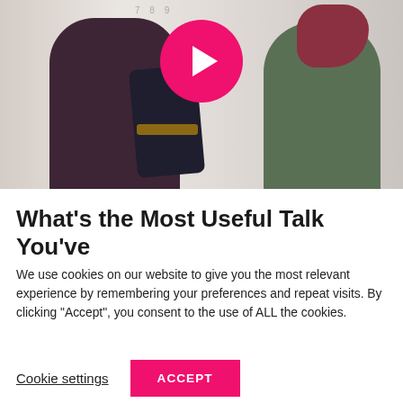[Figure (photo): Two people viewed from behind, standing in front of a whiteboard with charts. A man in a dark maroon shirt carrying a black bag on the left, and a woman with reddish hair in a green jacket on the right. A pink play button circle is overlaid in the center top of the image.]
What's the Most Useful Talk You've
We use cookies on our website to give you the most relevant experience by remembering your preferences and repeat visits. By clicking “Accept”, you consent to the use of ALL the cookies.
Cookie settings   ACCEPT